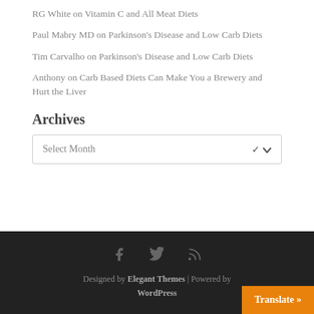RG White on Vitamin C and All Meat Diets
Paul Mabry MD on Parkinson's Disease and Low Carb Diets
Tim Carvalho on Parkinson's Disease and Low Carb Diets
Anthony on Carb Based Diets Can Make You a Brewery and Hurt the Liver
Archives
Select Month
Designed by Elegant Themes | Powered by WordPress